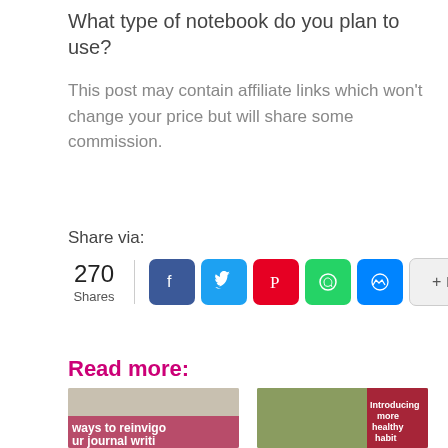What type of notebook do you plan to use?
This post may contain affiliate links which won't change your price but will share some commission.
Share via:
[Figure (infographic): Social share bar showing 270 shares, with buttons for Facebook, Twitter, Pinterest, WhatsApp, Messenger, and a More button]
Read more:
[Figure (photo): Thumbnail image with text overlay: 'ways to reinvigo ur journal writi']
[Figure (photo): Thumbnail image with text overlay: 'Introducing more healthy habit']